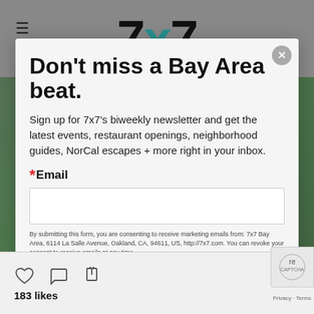7x7
Don't miss a Bay Area beat.
Sign up for 7x7's biweekly newsletter and get the latest events, restaurant openings, neighborhood guides, NorCal escapes + more right in your inbox.
*Email
By submitting this form, you are consenting to receive marketing emails from: 7x7 Bay Area, 6114 La Salle Avenue, Oakland, CA, 94611, US, http://7x7.com. You can revoke your consent to receive emails at any time
183 likes